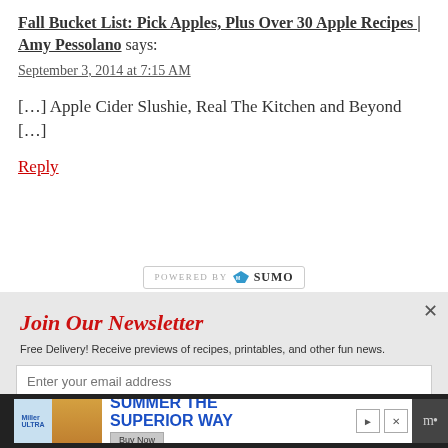Fall Bucket List: Pick Apples, Plus Over 30 Apple Recipes | Amy Pessolano says:
September 3, 2014 at 7:15 AM
[…] Apple Cider Slushie, Real The Kitchen and Beyond […]
Reply
[Figure (screenshot): POWERED BY SUMO badge]
[Figure (screenshot): Join Our Newsletter overlay with email input. Title: Join Our Newsletter. Description: Free Delivery! Receive previews of recipes, printables, and other fun news. Input: Enter your email address.]
[Figure (screenshot): Advertisement banner: SUMMER THE SUPERIOR WAY, Buy Now button, Miller Ultra can and burger image]